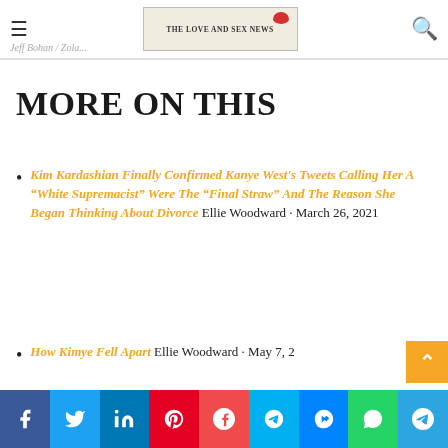Jeff Bohan / Zola... THE LOVE AND SEX NEWS
MORE ON THIS
Kim Kardashian Finally Confirmed Kanye West's Tweets Calling Her A “White Supremacist” Were The “Final Straw” And The Reason She Began Thinking About Divorce Ellie Woodward · March 26, 2021
How Kimye Fell Apart Ellie Woodward · May 7, 2...